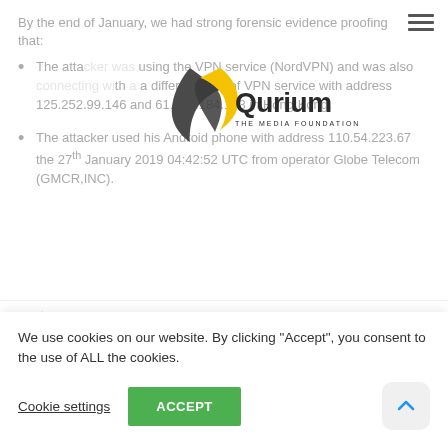By the end of January, we had strong forensic evidence proofing that:
[Figure (logo): Qurium - The Media Foundation logo with stylized black and yellow shield/leaf shape]
The attacker was using the VPN service (NordVPN) and was also connecting with a different type of VPN service with address 125.252.99.146 and 61.244.184.133 in Hong Kong.
The attacker used his Android phone with address 110.54.223.67 the 27th January 2019 04:42:52 UTC from operator Globe Telecom (GMCR,INC).
[Figure (bar-chart): Partial bar chart showing a tall purple spike, with a legend in top right corner showing three colored items]
We use cookies on our website. By clicking "Accept", you consent to the use of ALL the cookies.
Cookie settings
ACCEPT